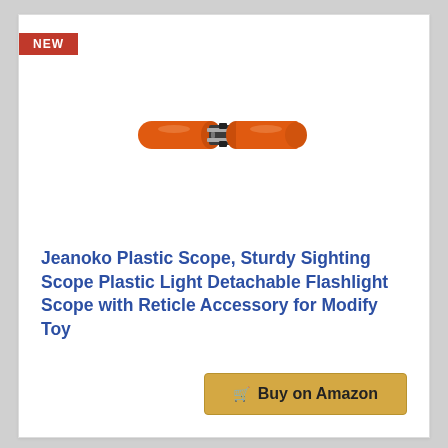[Figure (photo): Product image of a Jeanoko plastic scope with orange cylindrical barrels on each end and a black metal center mounting bracket]
Jeanoko Plastic Scope, Sturdy Sighting Scope Plastic Light Detachable Flashlight Scope with Reticle Accessory for Modify Toy
$10.59
Buy on Amazon